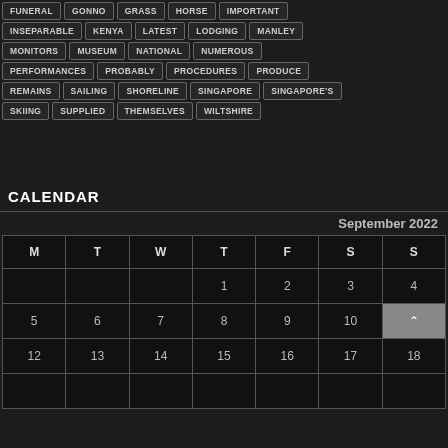FUNERAL, GONNO, GRASS, HORSE, IMPORTANT
INSEPARABLE, KENYA, LATEST, LODGING, MANLEY
MONITORS, MUSEUM, NATIONAL, NUMEROUS
PERFORMANCES, PROBABLY, PROCEDURES, PRODUCE
REMAINS, SAILING, SHORELINE, SINGAPORE, SINGAPORE'S
SKIING, SUPPLIED, THEMSELVES, WILTSHIRE
CALENDAR
September 2022
| M | T | W | T | F | S | S |
| --- | --- | --- | --- | --- | --- | --- |
|  |  |  | 1 | 2 | 3 | 4 |
| 5 | 6 | 7 | 8 | 9 | 10 |  |
| 12 | 13 | 14 | 15 | 16 | 17 | 18 |
|  |  |  |  |  |  |  |